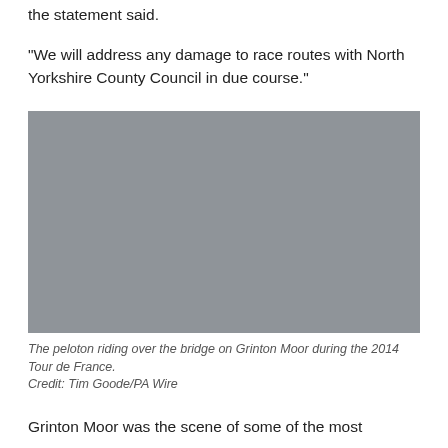the statement said.
"We will address any damage to race routes with North Yorkshire County Council in due course."
[Figure (photo): A grey placeholder image representing the peloton riding over the bridge on Grinton Moor during the 2014 Tour de France.]
The peloton riding over the bridge on Grinton Moor during the 2014 Tour de France.
Credit: Tim Goode/PA Wire
Grinton Moor was the scene of some of the most